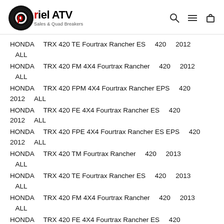Iriel ATV Sales & Quad Breakers
HONDA    TRX 420 TE Fourtrax Rancher ES    420    2012    ALL
HONDA    TRX 420 FM 4X4 Fourtrax Rancher    420    2012    ALL
HONDA    TRX 420 FPM 4X4 Fourtrax Rancher EPS    420    2012    ALL
HONDA    TRX 420 FE 4X4 Fourtrax Rancher ES    420    2012    ALL
HONDA    TRX 420 FPE 4X4 Fourtrax Rancher ES EPS    420    2012    ALL
HONDA    TRX 420 TM Fourtrax Rancher    420    2013    ALL
HONDA    TRX 420 TE Fourtrax Rancher ES    420    2013    ALL
HONDA    TRX 420 FM 4X4 Fourtrax Rancher    420    2013    ALL
HONDA    TRX 420 FE 4X4 Fourtrax Rancher ES    420    ...